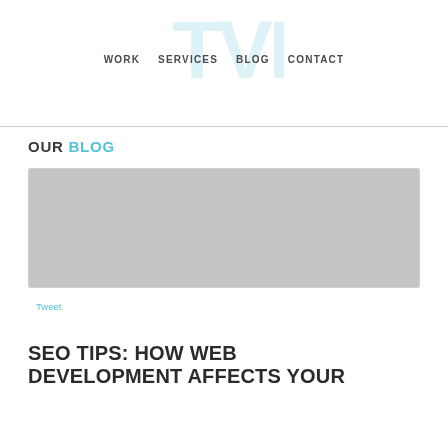WORK   SERVICES   BLOG   CONTACT
OUR BLOG
[Figure (photo): Gray placeholder image for blog post thumbnail]
Tweet
SEO TIPS: HOW WEB DEVELOPMENT AFFECTS YOUR